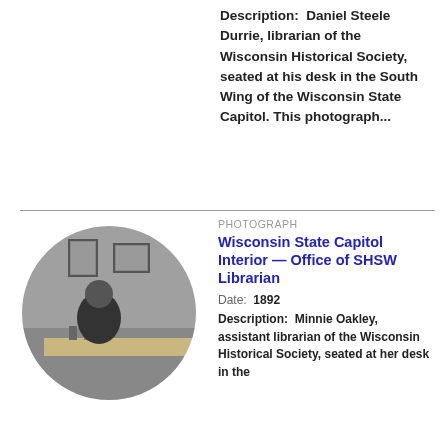Description:  Daniel Steele Durrie, librarian of the Wisconsin Historical Society, seated at his desk in the South Wing of the Wisconsin State Capitol. This photograph...
[Figure (photo): Black and white circular photo of a person seated at a desk in an office with framed pictures on the wall]
PHOTOGRAPH
Wisconsin State Capitol Interior — Office of SHSW Librarian
Date:  1892
Description:  Minnie Oakley, assistant librarian of the Wisconsin Historical Society, seated at her desk in the